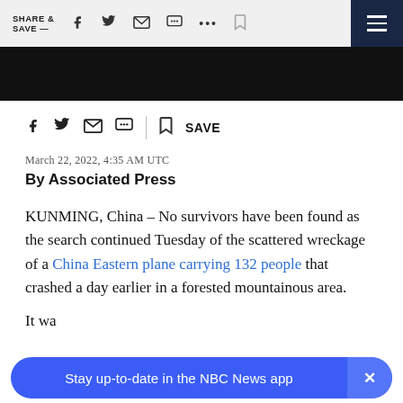SHARE & SAVE —  [social icons]  ☰
[Figure (screenshot): Dark image/video thumbnail strip across the top of the article]
[social share icons: facebook, twitter, email, message, bookmark] SAVE
March 22, 2022, 4:35 AM UTC
By Associated Press
KUNMING, China – No survivors have been found as the search continued Tuesday of the scattered wreckage of a China Eastern plane carrying 132 people that crashed a day earlier in a forested mountainous area.
It wa...
Stay up-to-date in the NBC News app